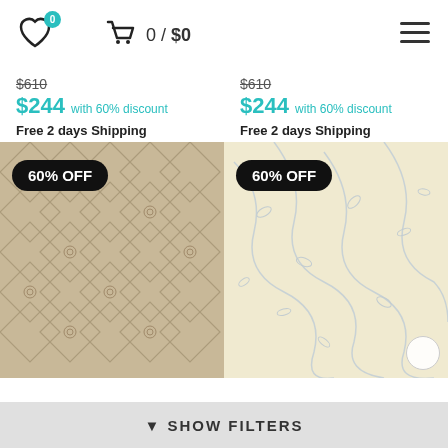[Figure (screenshot): E-commerce page header with heart/wishlist icon showing badge 0, shopping cart icon showing 0/$0, and hamburger menu icon]
$610 (strikethrough) $244 with 60% discount Free 2 days Shipping (left column)
$610 (strikethrough) $244 with 60% discount Free 2 days Shipping (right column)
[Figure (photo): Beige/tan geometric rug with trellis and floral medallion pattern, 60% OFF badge]
[Figure (photo): Cream/ivory rug with light blue floral vine pattern, 60% OFF badge]
SHOW FILTERS